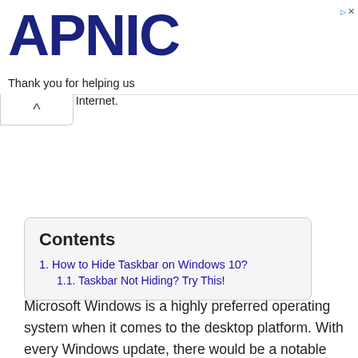APNIC — Thank you for helping us measure the Internet.
Contents
1. How to Hide Taskbar on Windows 10?
1.1. Taskbar Not Hiding? Try This!
Microsoft Windows is a highly preferred operating system when it comes to the desktop platform. With every Windows update, there would be a notable number of features that get upgraded. Of which, this section is all about Windows 10 taskbar. It will be located at the bottom of the screen and